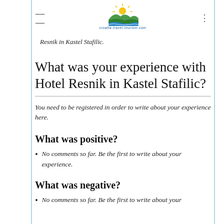croatia-travel-tourism.com logo and navigation
Resnik in Kastel Stafilic.
What was your experience with Hotel Resnik in Kastel Stafilic?
You need to be registered in order to write about your experience here.
What was positive?
No comments so far. Be the first to write about your experience.
What was negative?
No comments so far. Be the first to write about your